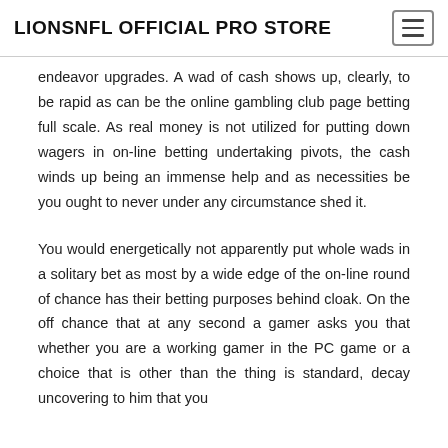LIONSNFL OFFICIAL PRO STORE
endeavor upgrades. A wad of cash shows up, clearly, to be rapid as can be the online gambling club page betting full scale. As real money is not utilized for putting down wagers in on-line betting undertaking pivots, the cash winds up being an immense help and as necessities be you ought to never under any circumstance shed it.
You would energetically not apparently put whole wads in a solitary bet as most by a wide edge of the on-line round of chance has their betting purposes behind cloak. On the off chance that at any second a gamer asks you that whether you are a working gamer in the PC game or a choice that is other than the thing is standard, decay uncovering to him that you